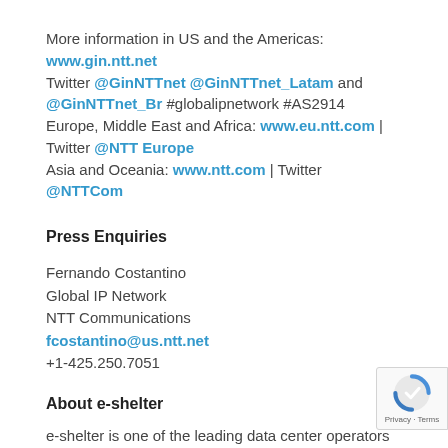More information in US and the Americas:
www.gin.ntt.net
Twitter @GinNTTnet @GinNTTnet_Latam and @GinNTTnet_Br #globalipnetwork #AS2914
Europe, Middle East and Africa: www.eu.ntt.com | Twitter @NTT Europe
Asia and Oceania: www.ntt.com | Twitter @NTTCom
Press Enquiries
Fernando Costantino
Global IP Network
NTT Communications
fcostantino@us.ntt.net
+1-425.250.7051
About e-shelter
e-shelter is one of the leading data center operators